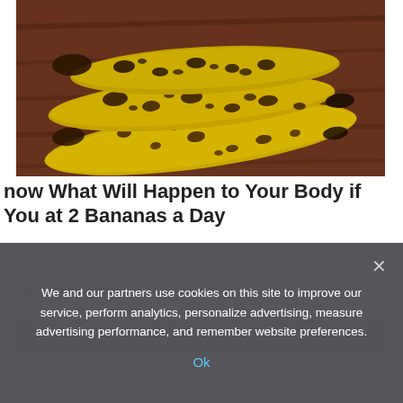[Figure (photo): Three overripe bananas with heavy brown spotting on yellow skin, lying on a dark wooden surface]
now What Will Happen to Your Body if You at 2 Bananas a Day
nanas | Sponsored
[Figure (photo): Partial view of another image strip below the divider]
We and our partners use cookies on this site to improve our service, perform analytics, personalize advertising, measure advertising performance, and remember website preferences.
Ok